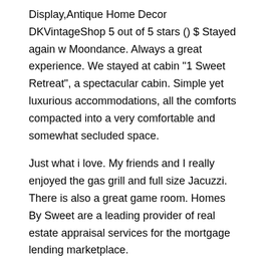Display,Antique Home Decor DKVintageShop 5 out of 5 stars () $ Stayed again w Moondance. Always a great experience. We stayed at cabin "1 Sweet Retreat", a spectacular cabin. Simple yet luxurious accommodations, all the comforts compacted into a very comfortable and somewhat secluded space.
Just what i love. My friends and I really enjoyed the gas grill and full size Jacuzzi. There is also a great game room. Homes By Sweet are a leading provider of real estate appraisal services for the mortgage lending marketplace.
A proven track record of reducing lenders time, efforts and. Here is a Custom Version of Barney's Home Sweet Homes. Thank you for watching. Featuring free WiFi, The Sweet Homes offers accommodation in Yelahanka.
Bangalore Aero Show is 4 km away. Free private parking is available on site. All units feature a seating and dining area. Every unit is equipped with a private bathroom with a bath or shower.
Towels are featured. University of Agricultural Sciences is 10 km from